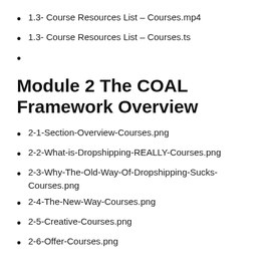1.3- Course Resources List – Courses.mp4
1.3- Course Resources List – Courses.ts
Module 2 The COAL Framework Overview
2-1-Section-Overview-Courses.png
2-2-What-is-Dropshipping-REALLY-Courses.png
2-3-Why-The-Old-Way-Of-Dropshipping-Sucks-Courses.png
2-4-The-New-Way-Courses.png
2-5-Creative-Courses.png
2-6-Offer-Courses.png